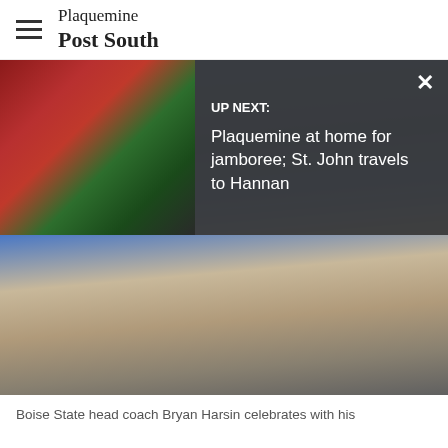Plaquemine Post South
[Figure (photo): Sports news website screenshot showing an 'UP NEXT' overlay with a football game thumbnail on the left and text 'UP NEXT: Plaquemine at home for jamboree; St. John travels to Hannan' on a dark background. Main image shows Boise State head coach Bryan Harsin celebrating on a football field with a blonde woman (his wife), both smiling.]
Boise State head coach Bryan Harsin celebrates with his